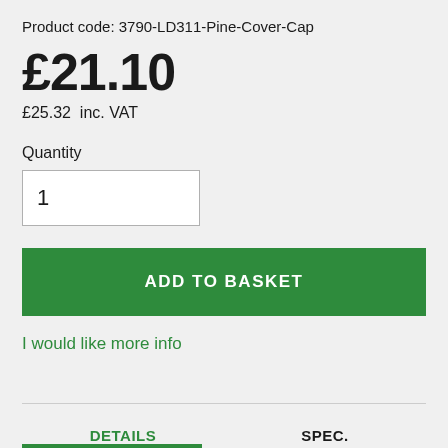Product code: 3790-LD311-Pine-Cover-Cap
£21.10
£25.32  inc. VAT
Quantity
1
ADD TO BASKET
I would like more info
DETAILS
SPEC.